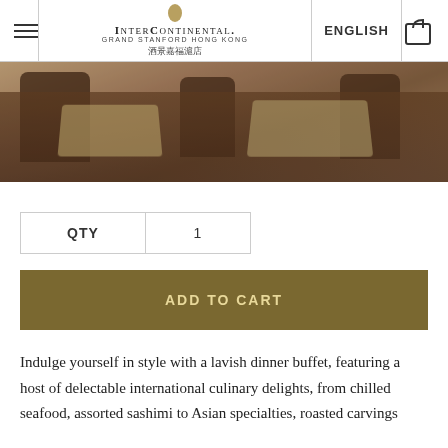InterContinental Grand Stanford Hong Kong | ENGLISH
[Figure (photo): Restaurant interior with dark wooden dining chairs and table set with bamboo placemats and glassware]
| QTY | 1 |
| --- | --- |
ADD TO CART
Indulge yourself in style with a lavish dinner buffet, featuring a host of delectable international culinary delights, from chilled seafood, assorted sashimi to Asian specialties, roasted carvings